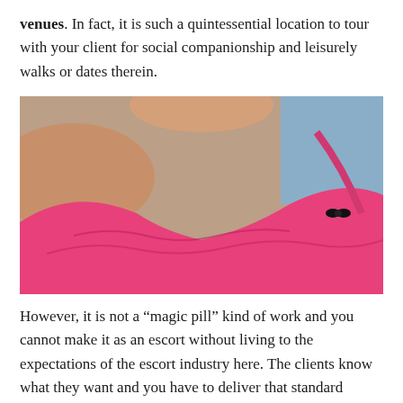venues. In fact, it is such a quintessential location to tour with your client for social companionship and leisurely walks or dates therein.
[Figure (photo): A blonde woman in a pink lace lingerie top, photographed from the neck/chin down against a light blue background.]
However, it is not a “magic pill” kind of work and you cannot make it as an escort without living to the expectations of the escort industry here. The clients know what they want and you have to deliver that standard otherwise they won’t be willing to come back